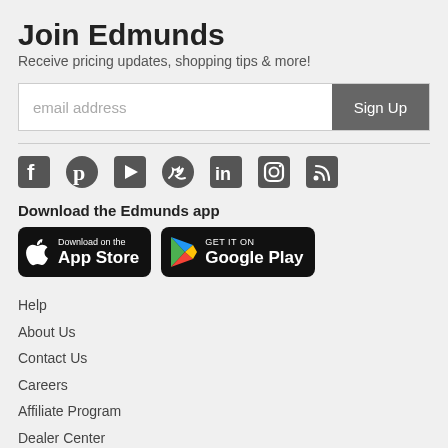Join Edmunds
Receive pricing updates, shopping tips & more!
[Figure (screenshot): Email address input field with Sign Up button]
[Figure (infographic): Social media icons: Facebook, Pinterest, YouTube, Twitter, LinkedIn, Instagram, RSS]
Download the Edmunds app
[Figure (infographic): App Store download badge (black, Apple logo, Download on the App Store)]
[Figure (infographic): Google Play download badge (black, Google Play triangle logo, GET IT ON Google Play)]
Help
About Us
Contact Us
Careers
Affiliate Program
Dealer Center